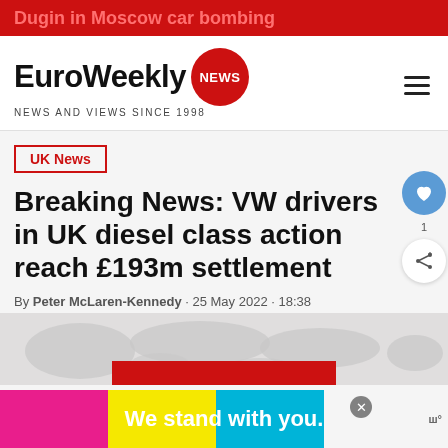Dugin in Moscow car bombing
[Figure (logo): EuroWeekly NEWS logo with red circle badge and tagline NEWS AND VIEWS SINCE 1998]
UK News
Breaking News: VW drivers in UK diesel class action reach £193m settlement
By Peter McLaren-Kennedy · 25 May 2022 · 18:38
[Figure (map): World map graphic background image]
We stand with you.